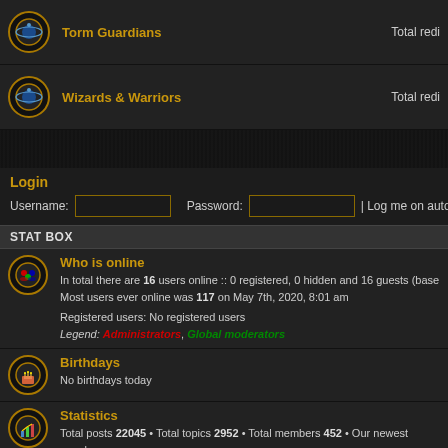Torm Guardians — Total redi...
Wizards & Warriors — Total redi...
Login
Username: [input] Password: [input] | Log me on autom...
STAT BOX
Who is online
In total there are 16 users online :: 0 registered, 0 hidden and 16 guests (base...
Most users ever online was 117 on May 7th, 2020, 8:01 am
Registered users: No registered users
Legend: Administrators, Global moderators
Birthdays
No birthdays today
Statistics
Total posts 22045 • Total topics 2952 • Total members 452 • Our newest memb...
Portal » Board index    The team • Delete all board c...
Powered by phpBB® Forum Software © phpBB Gr...
Site content copyright © Clan Titan.
Style: Titan Default by Clan Titan
Americanized by Maël Soucaze.
Protected by Anti-Spam ACP.